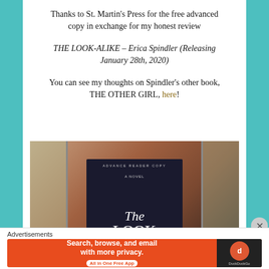Thanks to St. Martin's Press for the free advanced copy in exchange for my honest review
THE LOOK-ALIKE – Erica Spindler (Releasing January 28th, 2020)
You can see my thoughts on Spindler's other book, THE OTHER GIRL, here!
[Figure (photo): Person holding up an advance reader copy of 'The Look-Alike, A Novel' by Erica Spindler, covering their face with the book, standing in front of a house exterior]
Advertisements
[Figure (screenshot): DuckDuckGo advertisement banner: 'Search, browse, and email with more privacy. All in One Free App' with DuckDuckGo logo on dark background]